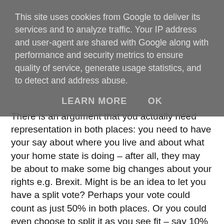This site uses cookies from Google to deliver its services and to analyze traffic. Your IP address and user-agent are shared with Google along with performance and security metrics to ensure quality of service, generate usage statistics, and to detect and address abuse.
LEARN MORE   OK
There is an argument that you actually need representation in both places: you need to have your say about where you live and about what your home state is doing – after all, they may be about to make some big changes about your rights e.g. Brexit. Might is be an idea to let you have a split vote? Perhaps your vote could count as just 50% in both places. Or you could even choose to split it as you see fit – say 10% / 90% in favour of either place? Surely we have the technology to make this easy enough?
There is an alternative. We get rid of all national barriers and national leaders become regional ones. Brexit and its associated confusion would disappear overnight. Come on United Nations – take the lead on this.